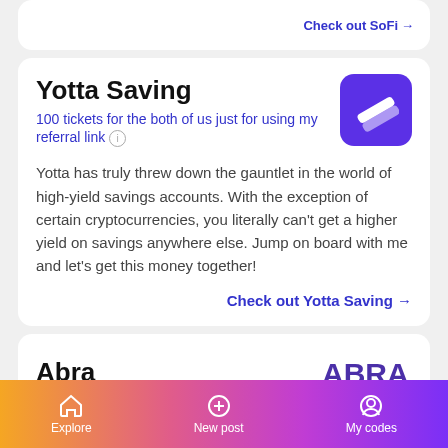Yotta Saving
100 tickets for the both of us just for using my referral link
Yotta has truly threw down the gauntlet in the world of high-yield savings accounts. With the exception of certain cryptocurrencies, you literally can't get a higher yield on savings anywhere else. Jump on board with me and let's get this money together!
Check out Yotta Saving →
Abra
🎁 invite friends → earn rewards 🎁
Explore   New post   My codes